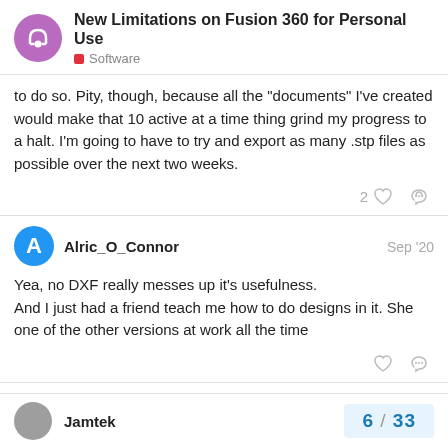New Limitations on Fusion 360 for Personal Use — Software
to do so. Pity, though, because all the "documents" I've created would make that 10 active at a time thing grind my progress to a halt. I'm going to have to try and export as many .stp files as possible over the next two weeks.
Alric_O_Connor — Sep '20
Yea, no DXF really messes up it's usefulness.
And I just had a friend teach me how to do designs in it. She one of the other versions at work all the time
Jamtek — 6 / 33